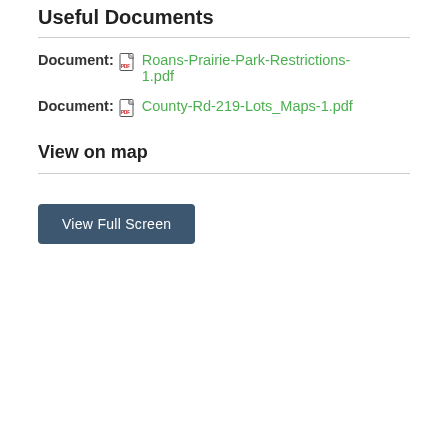Useful Documents
Document: Roans-Prairie-Park-Restrictions-1.pdf
Document: County-Rd-219-Lots_Maps-1.pdf
View on map
View Full Screen